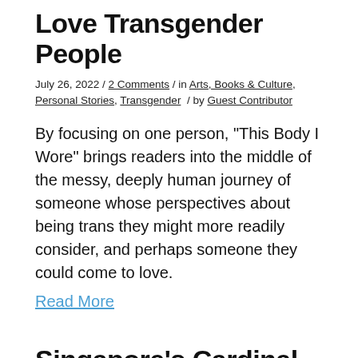Love Transgender People
July 26, 2022 / 2 Comments / in Arts, Books & Culture, Personal Stories, Transgender / by Guest Contributor
By focusing on one person, "This Body I Wore" brings readers into the middle of the messy, deeply human journey of someone whose perspectives about being trans they might more readily consider, and perhaps someone they could come to love.
Read More
Singapore's Cardinal-Designate Seeks LGBTQ